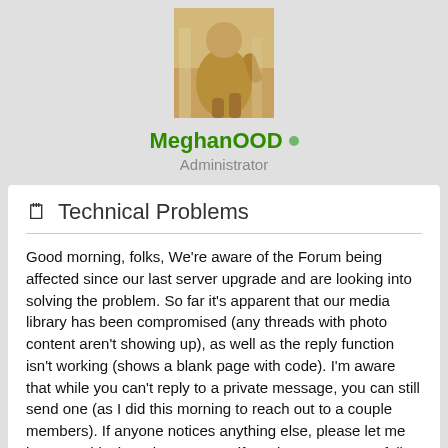[Figure (photo): A golden/bronze classical statue or sculpture of a human figure, displayed against a marble or stone interior background.]
MeghanOOD ○
Administrator
📄 Technical Problems
Good morning, folks, We're aware of the Forum being affected since our last server upgrade and are looking into solving the problem. So far it's apparent that our media library has been compromised (any threads with photo content aren't showing up), as well as the reply function isn't working (shows a blank page with code). I'm aware that while you can't reply to a private message, you can still send one (as I did this morning to reach out to a couple members). If anyone notices anything else, please let me know on this thread so I can notify tech support. Hopefully we can get it ironed out today.Thank you, everyone.